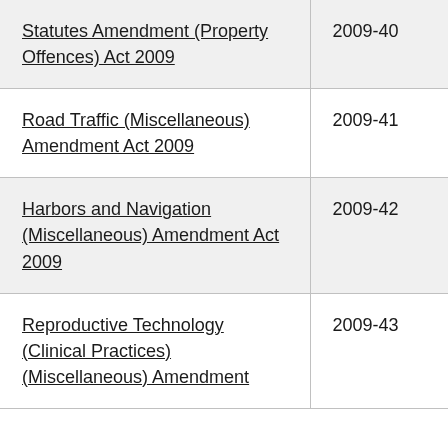| Statutes Amendment (Property Offences) Act 2009 | 2009-40 |
| Road Traffic (Miscellaneous) Amendment Act 2009 | 2009-41 |
| Harbors and Navigation (Miscellaneous) Amendment Act 2009 | 2009-42 |
| Reproductive Technology (Clinical Practices) (Miscellaneous) Amendment | 2009-43 |